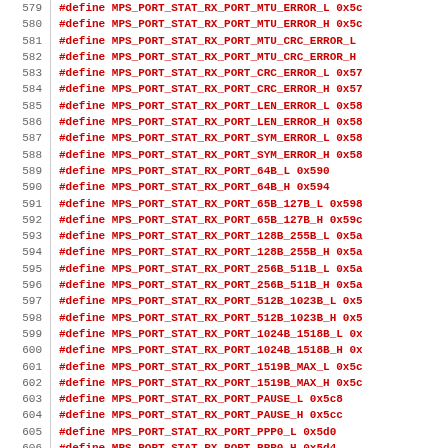579 #define MPS_PORT_STAT_RX_PORT_MTU_ERROR_L 0x5...
580 #define MPS_PORT_STAT_RX_PORT_MTU_ERROR_H 0x5...
581 #define MPS_PORT_STAT_RX_PORT_MTU_CRC_ERROR_L
582 #define MPS_PORT_STAT_RX_PORT_MTU_CRC_ERROR_H
583 #define MPS_PORT_STAT_RX_PORT_CRC_ERROR_L 0x57
584 #define MPS_PORT_STAT_RX_PORT_CRC_ERROR_H 0x57
585 #define MPS_PORT_STAT_RX_PORT_LEN_ERROR_L 0x58
586 #define MPS_PORT_STAT_RX_PORT_LEN_ERROR_H 0x58
587 #define MPS_PORT_STAT_RX_PORT_SYM_ERROR_L 0x58
588 #define MPS_PORT_STAT_RX_PORT_SYM_ERROR_H 0x58
589 #define MPS_PORT_STAT_RX_PORT_64B_L 0x590
590 #define MPS_PORT_STAT_RX_PORT_64B_H 0x594
591 #define MPS_PORT_STAT_RX_PORT_65B_127B_L 0x598
592 #define MPS_PORT_STAT_RX_PORT_65B_127B_H 0x59c
593 #define MPS_PORT_STAT_RX_PORT_128B_255B_L 0x5a
594 #define MPS_PORT_STAT_RX_PORT_128B_255B_H 0x5a
595 #define MPS_PORT_STAT_RX_PORT_256B_511B_L 0x5a
596 #define MPS_PORT_STAT_RX_PORT_256B_511B_H 0x5a
597 #define MPS_PORT_STAT_RX_PORT_512B_1023B_L 0x5
598 #define MPS_PORT_STAT_RX_PORT_512B_1023B_H 0x5
599 #define MPS_PORT_STAT_RX_PORT_1024B_1518B_L 0x
600 #define MPS_PORT_STAT_RX_PORT_1024B_1518B_H 0x
601 #define MPS_PORT_STAT_RX_PORT_1519B_MAX_L 0x5c
602 #define MPS_PORT_STAT_RX_PORT_1519B_MAX_H 0x5c
603 #define MPS_PORT_STAT_RX_PORT_PAUSE_L 0x5c8
604 #define MPS_PORT_STAT_RX_PORT_PAUSE_H 0x5cc
605 #define MPS_PORT_STAT_RX_PORT_PPP0_L 0x5d0
606 #define MPS_PORT_STAT_RX_PORT_PPP0_H 0x5d...